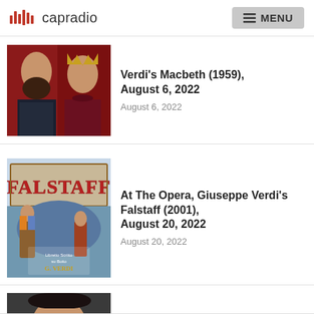capradio  MENU
[Figure (photo): Two opera performers in costume — bearded man in armor and woman wearing a crown, from Verdi's Macbeth (1959)]
Verdi's Macbeth (1959), August 6, 2022
August 6, 2022
[Figure (photo): Vintage opera poster for Falstaff by G. Verdi, showing colorful illustrated scene with large red lettering spelling FALSTAFF]
At The Opera, Giuseppe Verdi's Falstaff (2001), August 20, 2022
August 20, 2022
[Figure (photo): Partial view of a third opera listing card, showing a dark-haired person at the bottom of the page]